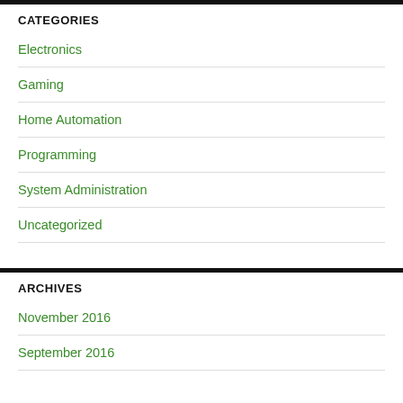CATEGORIES
Electronics
Gaming
Home Automation
Programming
System Administration
Uncategorized
ARCHIVES
November 2016
September 2016